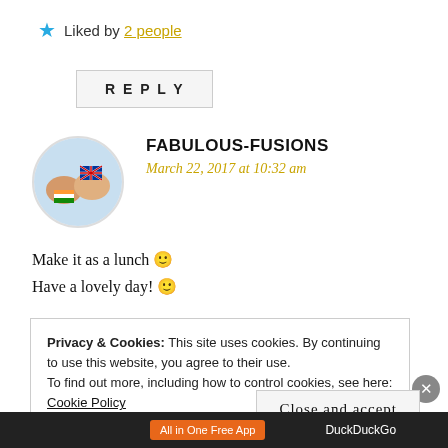★ Liked by 2 people
REPLY
[Figure (photo): Circular avatar image showing fist bump with flags]
FABULOUS-FUSIONS
March 22, 2017 at 10:32 am
Make it as a lunch 🙂
Have a lovely day! 🙂
Privacy & Cookies: This site uses cookies. By continuing to use this website, you agree to their use. To find out more, including how to control cookies, see here: Cookie Policy
Close and accept